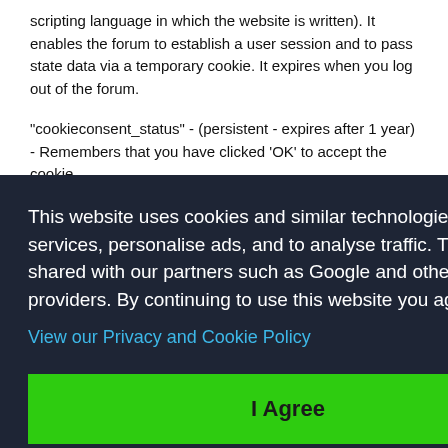scripting language in which the website is written). It enables the forum to establish a user session and to pass state data via a temporary cookie. It expires when you log out of the forum.
"cookieconsent_status" - (persistent - expires after 1 year) - Remembers that you have clicked 'OK' to accept the cookie
This website uses cookies and similar technologies to deliver services, personalise ads, and to analyse traffic. This data is shared with our partners such as Google and other ad technology providers. By continuing to use this website you agree to this.
View our Privacy and Cookie Policy
I Agree